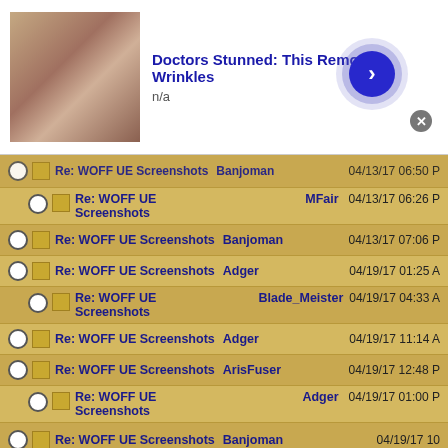[Figure (screenshot): Advertisement banner: 'Doctors Stunned: This Removes Wrinkles' with skin close-up thumbnail, n/a label, blue arrow button, close button]
Re: WOFF UE Screenshots | Banjoman | 04/13/17 (truncated top row)
Re: WOFF UE Screenshots | MFair | 04/13/17 06:26 PM (indented)
Re: WOFF UE Screenshots | Banjoman | 04/13/17 07:06 PM
Re: WOFF UE Screenshots | Adger | 04/19/17 01:25 AM
Re: WOFF UE Screenshots | Blade_Meister | 04/19/17 04:33 AM (indented)
Re: WOFF UE Screenshots | Adger | 04/19/17 11:14 AM
Re: WOFF UE Screenshots | ArisFuser | 04/19/17 12:48 PM
Re: WOFF UE Screenshots | Adger | 04/19/17 01:00 PM (indented)
Re: WOFF UE Screenshots | Banjoman | 04/19/17 10... (truncated)
[Figure (screenshot): Advertisement banner: '3 Steps to Tell a Slot Might Be Close to' with slot machine/person thumbnail, n/a label, blue arrow button, close button]